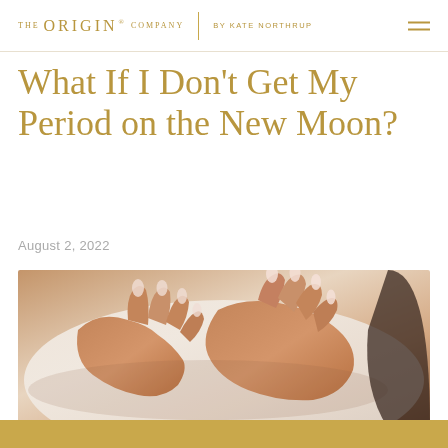THE ORIGIN® COMPANY | BY KATE NORTHRUP
What If I Don't Get My Period on the New Moon?
August 2, 2022
[Figure (photo): Close-up photo of a person's hands with long manicured nails resting on their abdomen/stomach area, wearing white clothing. The hands appear to be in a self-care or belly-holding pose.]